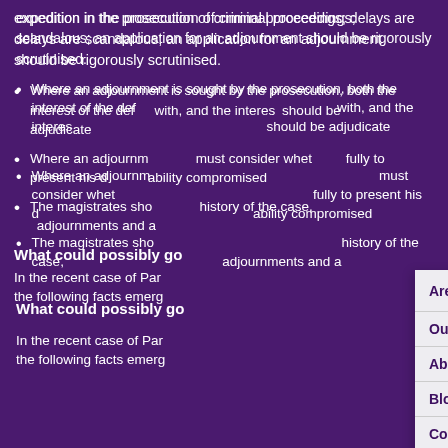expedition in the prosecution of criminal proceedings; delays are scandalous; an application for an adjournment should be rigorously scrutinised.
Where an adjournment is sought by the prosecution, both the interest of the defendant in getting the matter dealt with, and the interest of the public in the prosecution should be adjudicated upon.
Where an adjournment is sought by the defence the court must consider whether the defendant has been able fully to present his defence and whether he has had his ability compromised.
The magistrates should take into account the entire history of the case, and in particular previous adjournments and any reasons for them.
What could possibly go wrong?
In the recent case of Par... the following facts emerg...
[Figure (screenshot): Navigation overlay menu panel with dark purple background showing menu items: Areas Of Law (with arrow and X close button), Our Team, About Us, Blog, Contact Us, Trusted Partners, then a divider, Get in touch, and Category label.]